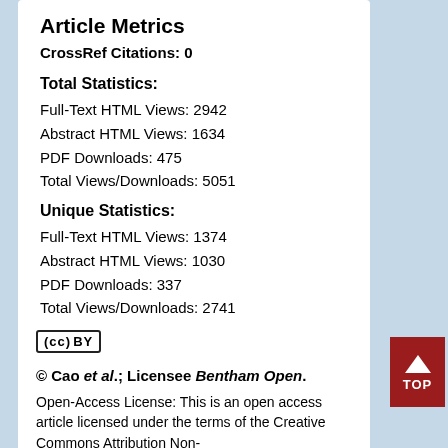Article Metrics
CrossRef Citations: 0
Total Statistics:
Full-Text HTML Views: 2942
Abstract HTML Views: 1634
PDF Downloads: 475
Total Views/Downloads: 5051
Unique Statistics:
Full-Text HTML Views: 1374
Abstract HTML Views: 1030
PDF Downloads: 337
Total Views/Downloads: 2741
[Figure (logo): Creative Commons CC BY license badge]
© Cao et al.; Licensee Bentham Open.
Open-Access License: This is an open access article licensed under the terms of the Creative Commons Attribution Non-